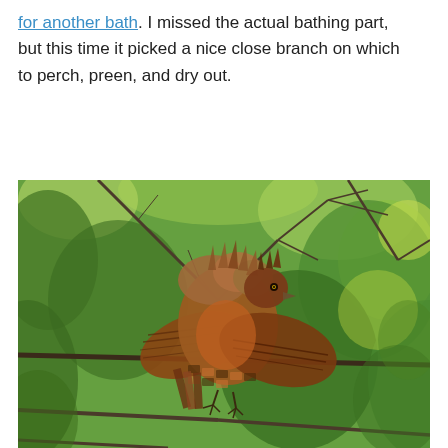for another bath. I missed the actual bathing part, but this time it picked a nice close branch on which to perch, preen, and dry out.
[Figure (photo): A bird with ruffled, wet brown and orange striped feathers perched on bare tree branches, with green foliage in the background. The bird appears to be drying out after bathing, with feathers spread out.]